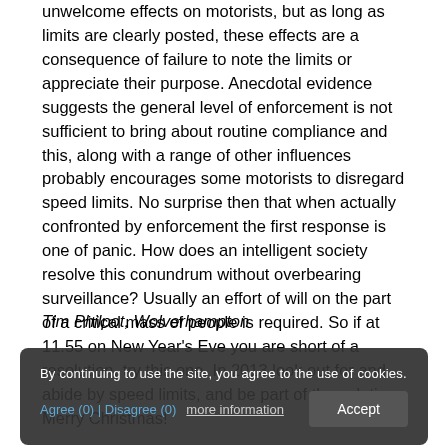unwelcome effects on motorists, but as long as limits are clearly posted, these effects are a consequence of failure to note the limits or appreciate their purpose. Anecdotal evidence suggests the general level of enforcement is not sufficient to bring about routine compliance and this, along with a range of other influences probably encourages some motorists to disregard speed limits. No surprise then that when actually confronted by enforcement the first response is one of panic. How does an intelligent society resolve this conundrum without overbearing surveillance? Usually an effort of will on the part of a critical mass of people is required. So if at 11.55 on New Year's Eve you are short of a resolution, try this one. In 2013 look out for and abide by speed limits, and be part of the solution. Merry Christmas!
Tim Philpot, Wolverhampton
By continuing to use the site, you agree to the use of cookies. more information Accept
Agree (0) | Disagree (0)
0